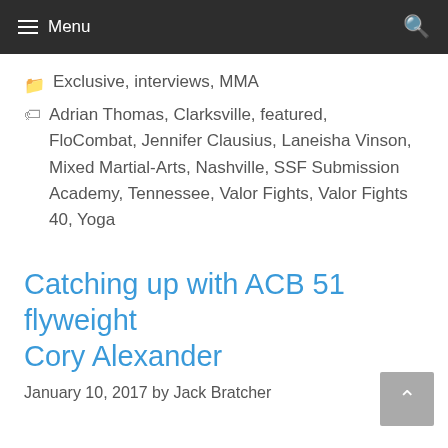Menu
Exclusive, interviews, MMA
Adrian Thomas, Clarksville, featured, FloCombat, Jennifer Clausius, Laneisha Vinson, Mixed Martial-Arts, Nashville, SSF Submission Academy, Tennessee, Valor Fights, Valor Fights 40, Yoga
Catching up with ACB 51 flyweight Cory Alexander
January 10, 2017 by Jack Bratcher